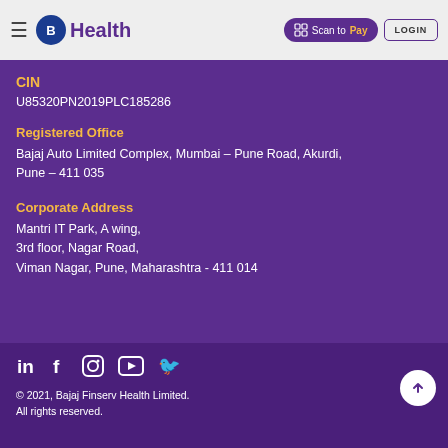B Health | Scan to Pay | LOGIN
CIN
U85320PN2019PLC185286
Registered Office
Bajaj Auto Limited Complex, Mumbai – Pune Road, Akurdi, Pune – 411 035
Corporate Address
Mantri IT Park, A wing,
3rd floor, Nagar Road,
Viman Nagar, Pune, Maharashtra - 411 014
© 2021, Bajaj Finserv Health Limited. All rights reserved.